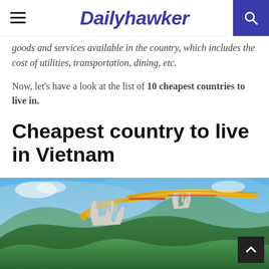Dailyhawker
goods and services available in the country, which includes the cost of utilities, transportation, dining, etc.
Now, let's have a look at the list of 10 cheapest countries to live in.
Cheapest country to live in Vietnam
[Figure (photo): Aerial view of the Golden Bridge (Cau Vang) in Ba Na Hills, Vietnam, held by giant stone hands above lush green forested mountains with blue sky background.]